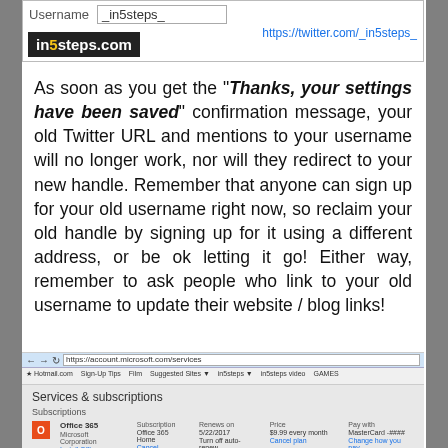[Figure (screenshot): Username field showing '_in5steps_' and URL https://twitter.com/_in5steps_]
[Figure (logo): in5steps.com logo with black background and yellow '5']
As soon as you get the "Thanks, your settings have been saved" confirmation message, your old Twitter URL and mentions to your username will no longer work, nor will they redirect to your new handle. Remember that anyone can sign up for your old username right now, so reclaim your old handle by signing up for it using a different address, or be ok letting it go! Either way, remember to ask people who link to your old username to update their website / blog links!
[Figure (screenshot): Browser screenshot showing Microsoft account Services & subscriptions page with Office 365 subscription details]